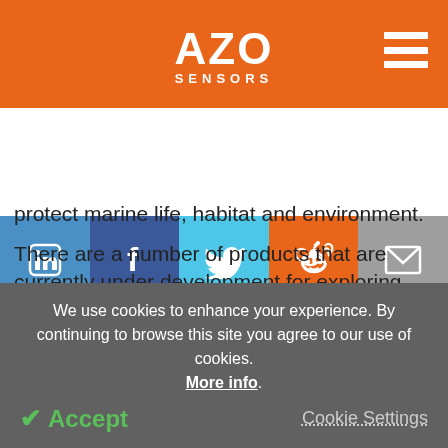AZO SENSORS
[Figure (logo): AZO Sensors logo with orange background and hamburger menu icon]
[Figure (infographic): Social sharing bar with LinkedIn, Facebook, Twitter, Reddit, and Email buttons]
protect marine life, habitat and environment.
There are a number of products that are currently under development for exploring new frontiers.
The future of MassaSonic® technology is in its capacity to boldly go where no other electroacoustic
We use cookies to enhance your experience. By continuing to browse this site you agree to our use of cookies. More info.
Accept
Cookie Settings